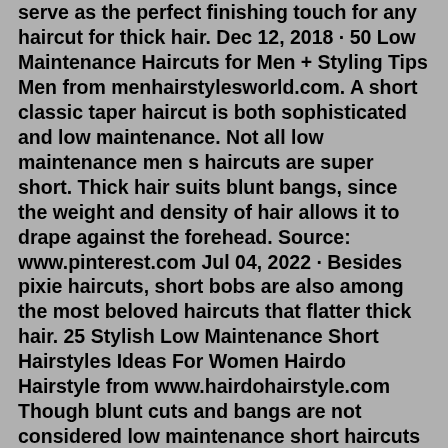serve as the perfect finishing touch for any haircut for thick hair. Dec 12, 2018 · 50 Low Maintenance Haircuts for Men + Styling Tips Men from menhairstylesworld.com. A short classic taper haircut is both sophisticated and low maintenance. Not all low maintenance men s haircuts are super short. Thick hair suits blunt bangs, since the weight and density of hair allows it to drape against the forehead. Source: www.pinterest.com Jul 04, 2022 · Besides pixie haircuts, short bobs are also among the most beloved haircuts that flatter thick hair. 25 Stylish Low Maintenance Short Hairstyles Ideas For Women Hairdo Hairstyle from www.hairdohairstyle.com Though blunt cuts and bangs are not considered low maintenance short haircuts for women with thick hair . Besides pixie haircuts, short ... Low maintenance hairstyles for seniors with thin hair Try out this polished, well-done hairstyle and see if it corresponds your wishes. #2 Blond Ambition Bob. This model introduces us a simple blunt bob with bangs. They emphasize the oval of the face, especially if it is of a